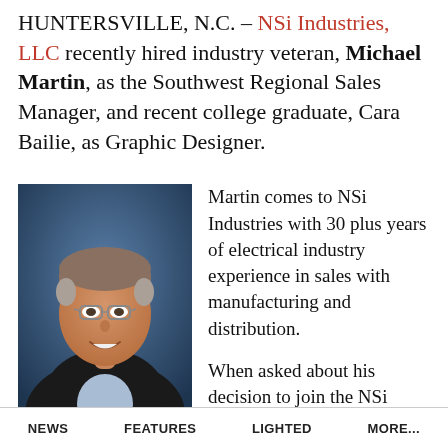HUNTERSVILLE, N.C. – NSi Industries, LLC recently hired industry veteran, Michael Martin, as the Southwest Regional Sales Manager, and recent college graduate, Cara Bailie, as Graphic Designer.
[Figure (photo): Professional headshot of Michael Martin, a middle-aged man with glasses, grey-brown hair, wearing a dark jacket and light blue shirt, photographed against a blue background.]
Martin comes to NSi Industries with 30 plus years of electrical industry experience in sales with manufacturing and distribution.
When asked about his decision to join the NSi
NEWS    FEATURES    LIGHTED    MORE...